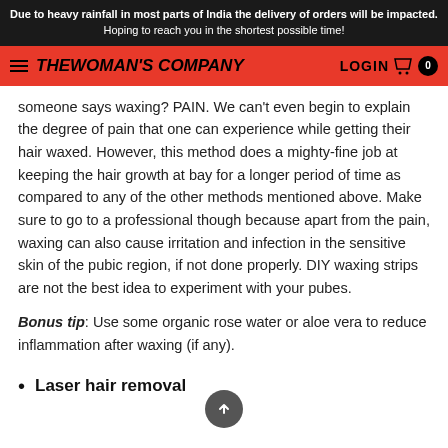Due to heavy rainfall in most parts of India the delivery of orders will be impacted. Hoping to reach you in the shortest possible time!
THE WOMAN'S COMPANY  LOGIN  0
someone says waxing? PAIN. We can't even begin to explain the degree of pain that one can experience while getting their hair waxed. However, this method does a mighty-fine job at keeping the hair growth at bay for a longer period of time as compared to any of the other methods mentioned above. Make sure to go to a professional though because apart from the pain, waxing can also cause irritation and infection in the sensitive skin of the pubic region, if not done properly. DIY waxing strips are not the best idea to experiment with your pubes.
Bonus tip: Use some organic rose water or aloe vera to reduce inflammation after waxing (if any).
Laser hair removal